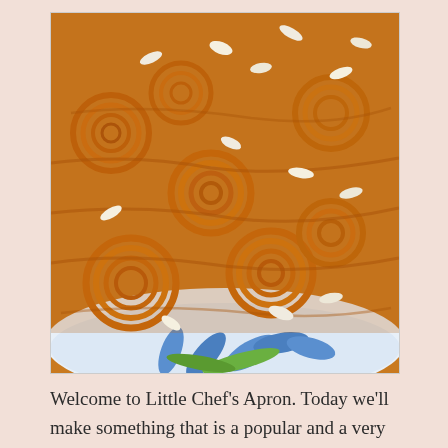[Figure (photo): Close-up photo of jalebi (Indian sweet dessert) — golden-orange spiral-shaped fried sweets topped with sliced almonds, piled on a plate with blue floral pattern visible at the bottom.]
Welcome to Little Chef's Apron. Today we'll make something that is a popular and a very delicious dessert in India ( mostly in north India) so read along and cook! The sugar syrup: